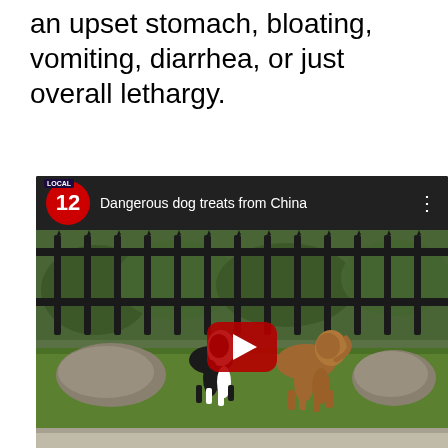an upset stomach, bloating, vomiting, diarrhea, or just overall lethargy.
[Figure (screenshot): YouTube video embed showing Local 12 news segment titled 'Dangerous dog treats from China'. The thumbnail shows two dogs playing in an outdoor fenced area on artificial grass. A red YouTube play button is overlaid in the center. At the bottom of the video is a news lower-third bar reading 'DANGEROUS DOG TREATS' and 'PROTECTING YOUR PETS' with the Local 12 logo.]